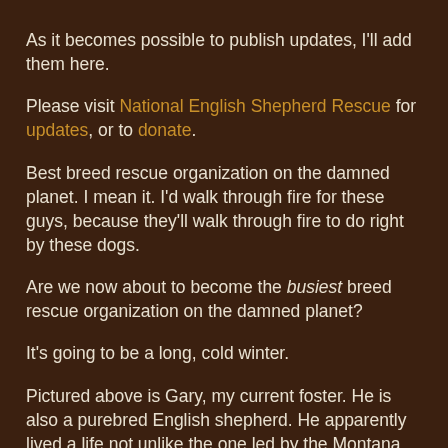As it becomes possible to publish updates, I'll add them here.
Please visit National English Shepherd Rescue for updates, or to donate.
Best breed rescue organization on the damned planet. I mean it. I'd walk through fire for these guys, because they'll walk through fire to do right by these dogs.
Are we now about to become the busiest breed rescue organization on the damned planet?
It's going to be a long, cold winter.
Pictured above is Gary, my current foster. He is also a purebred English shepherd. He apparently lived a life not unlike the one led by the Montana dogs. In six weeks here he's had a broken tooth removed, lived in lockdown while Rosie was in estrus, said goodbye to his testicles, learned how to live in a house and not pee therein, started his…